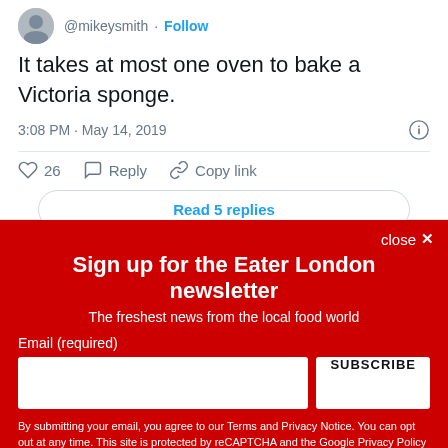[Figure (screenshot): Twitter profile avatar of @mikeysmith]
@mikeysmith · Follow
It takes at most one oven to bake a Victoria sponge.
3:08 PM · May 14, 2019
♡ 26   Reply   Copy link
Read 5 replies
close ×
Sign up for the Eater London newsletter
The freshest news from the local food world
Email (required)
SUBSCRIBE
By submitting your email, you agree to our Terms and Privacy Notice. You can opt out at any time. This site is protected by reCAPTCHA and the Google Privacy Policy and Terms of Service apply.